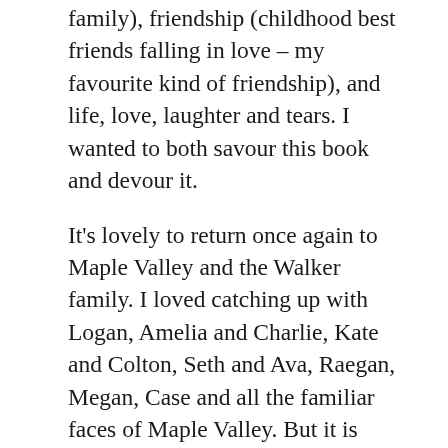family), friendship (childhood best friends falling in love – my favourite kind of friendship), and life, love, laughter and tears. I wanted to both savour this book and devour it.
It's lovely to return once again to Maple Valley and the Walker family. I loved catching up with Logan, Amelia and Charlie, Kate and Colton, Seth and Ava, Raegan, Megan, Case and all the familiar faces of Maple Valley. But it is Beckett Walker who is the star of this story. Beckett has been absent from Maple Valley for six years. He left one night six years ago when the hurt of his life had tangled around him and he just needed to get out. Since then he attended college and has been working as a lawyer in Boston, but a chance to become a JAG officer has him finally returning to Maple Valley, where he knows he must face his past (including the criminal arrest warrant waiting for him), his family and his childhood best-friend, Kit Danby.